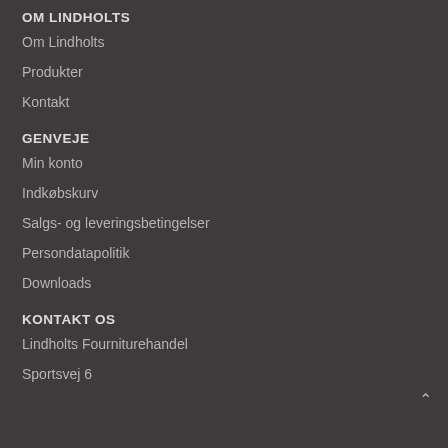OM LINDHOLTS
Om Lindholts
Produkter
Kontakt
GENVEJE
Min konto
Indkøbskurv
Salgs- og leveringsbetingelser
Persondatapolitik
Downloads
KONTAKT OS
Lindholts Fourniturehandel
Sportsvej 6